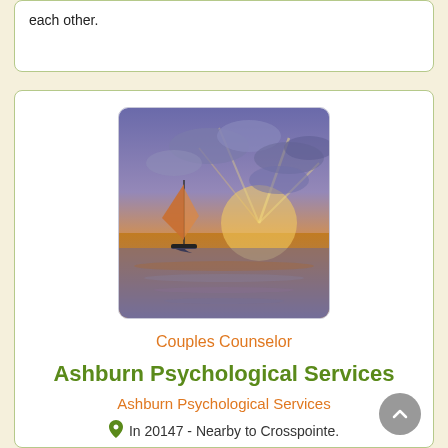each other.
[Figure (photo): Sailboat at sunset on calm water with dramatic orange and purple sky and sunbeams breaking through clouds]
Couples Counselor
Ashburn Psychological Services
Ashburn Psychological Services
In 20147 - Nearby to Crosspointe.